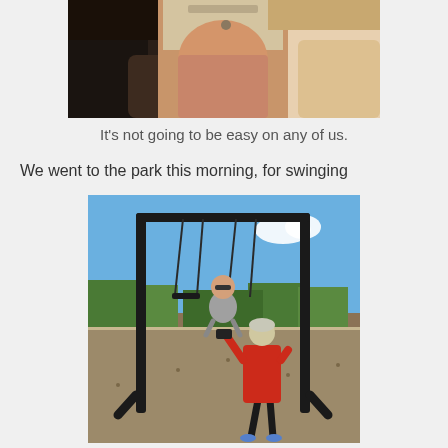[Figure (photo): Partial photo of a baby or small child being held, cropped view showing laps and the child's body in a light-colored outfit]
It's not going to be easy on any of us.
We went to the park this morning, for swinging
[Figure (photo): Photo of two children at a park swing set. A child in a red sleeveless shirt is pushing or interacting with another child on a swing. Blue sky and green trees in background, gravel ground.]